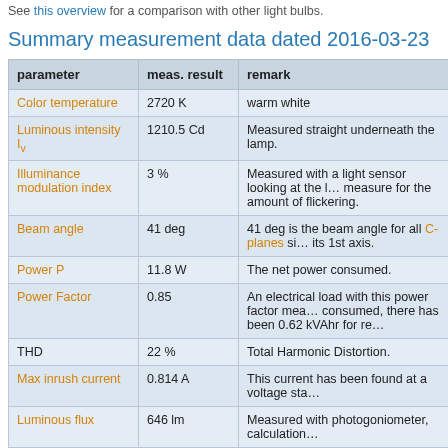See this overview for a comparison with other light bulbs.
Summary measurement data dated 2016-03-23
| parameter | meas. result | remark |
| --- | --- | --- |
| Color temperature | 2720 K | warm white |
| Luminous intensity Iv | 1210.5 Cd | Measured straight underneath the lamp. |
| Illuminance modulation index | 3 % | Measured with a light sensor looking at the lamp, a measure for the amount of flickering. |
| Beam angle | 41 deg | 41 deg is the beam angle for all C-planes since the lamp is symmetric around its 1st axis. |
| Power P | 11.8 W | The net power consumed. |
| Power Factor | 0.85 | An electrical load with this power factor mea... consumed, there has been 0.62 kVAhr for re... |
| THD | 22 % | Total Harmonic Distortion. |
| Max inrush current | 0.814 A | This current has been found at a voltage sta... |
| Luminous flux | 646 lm | Measured with photogoniometer, calculation... |